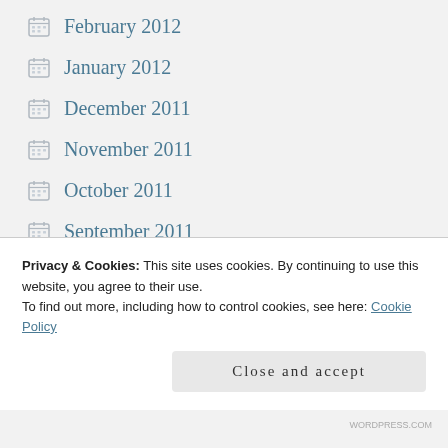February 2012
January 2012
December 2011
November 2011
October 2011
September 2011
August 2011
July 2011
June 2011
May 2011
Privacy & Cookies: This site uses cookies. By continuing to use this website, you agree to their use.
To find out more, including how to control cookies, see here: Cookie Policy
WORDPRESS.COM